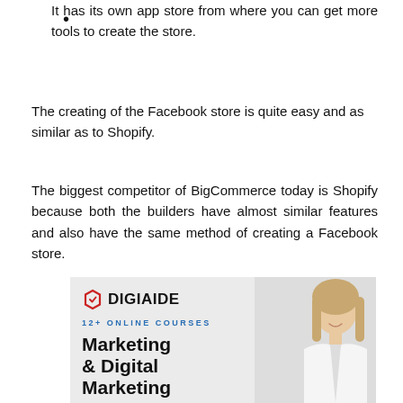It has its own app store from where you can get more tools to create the store.
The creating of the Facebook store is quite easy and as similar as to Shopify.
The biggest competitor of BigCommerce today is Shopify because both the builders have almost similar features and also have the same method of creating a Facebook store.
[Figure (illustration): DigiAide advertisement banner showing logo with hexagon C icon, '12+ ONLINE COURSES' text, 'Marketing & Digital Marketing' heading, and a smiling blonde woman in white shirt on the right side.]